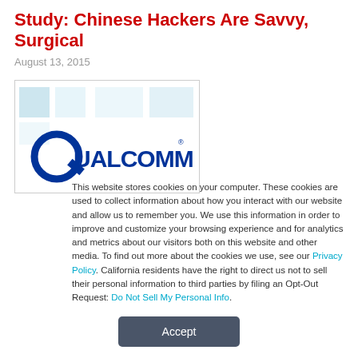Study: Chinese Hackers Are Savvy, Surgical
August 13, 2015
[Figure (logo): Qualcomm logo with blue squares in background and blue QUALCOMM text]
This website stores cookies on your computer. These cookies are used to collect information about how you interact with our website and allow us to remember you. We use this information in order to improve and customize your browsing experience and for analytics and metrics about our visitors both on this website and other media. To find out more about the cookies we use, see our Privacy Policy. California residents have the right to direct us not to sell their personal information to third parties by filing an Opt-Out Request: Do Not Sell My Personal Info.
Accept